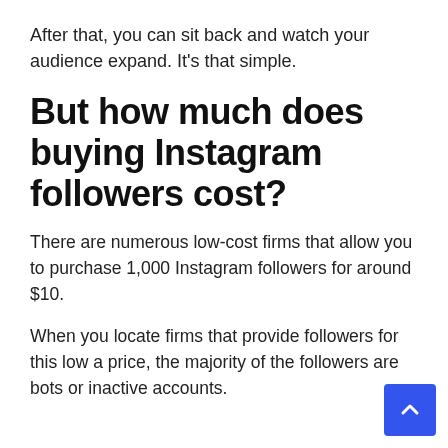After that, you can sit back and watch your audience expand. It's that simple.
But how much does buying Instagram followers cost?
There are numerous low-cost firms that allow you to purchase 1,000 Instagram followers for around $10.
When you locate firms that provide followers for this low a price, the majority of the followers are bots or inactive accounts.